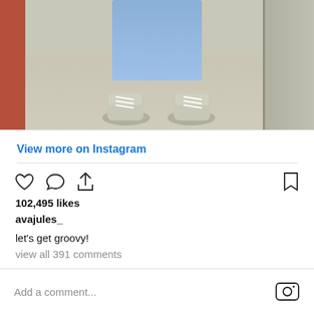[Figure (photo): Instagram post photo showing the lower half of a person wearing light blue jeans and white/grey sneakers, standing in front of a door on a concrete floor]
View more on Instagram
[Figure (other): Instagram action icons: heart (like), comment bubble, share arrow, and bookmark]
102,495 likes
avajules_
let's get groovy!
view all 391 comments
Add a comment...
princesspollyboutique
2.2M followers
View profile